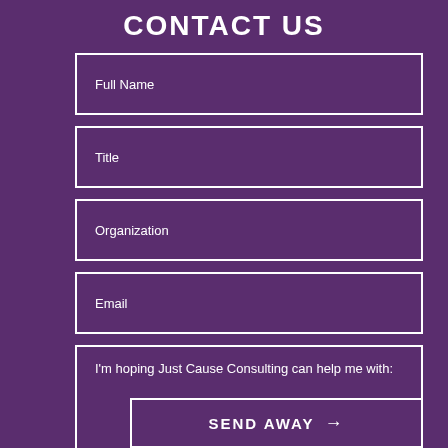CONTACT US
Full Name
Title
Organization
Email
I'm hoping Just Cause Consulting can help me with:
SEND AWAY →